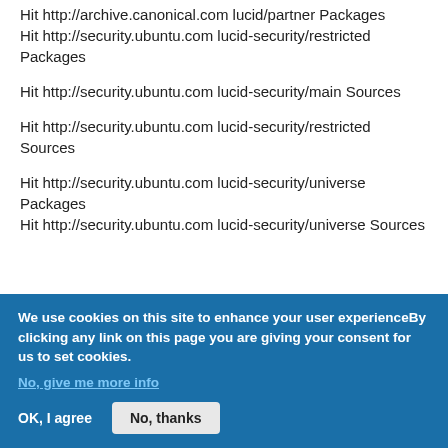Hit http://archive.canonical.com lucid/partner Packages
Hit http://security.ubuntu.com lucid-security/restricted Packages
Hit http://security.ubuntu.com lucid-security/main Sources
Hit http://security.ubuntu.com lucid-security/restricted Sources
Hit http://security.ubuntu.com lucid-security/universe Packages
Hit http://security.ubuntu.com lucid-security/universe Sources
We use cookies on this site to enhance your user experienceBy clicking any link on this page you are giving your consent for us to set cookies.
No, give me more info
OK, I agree
No, thanks